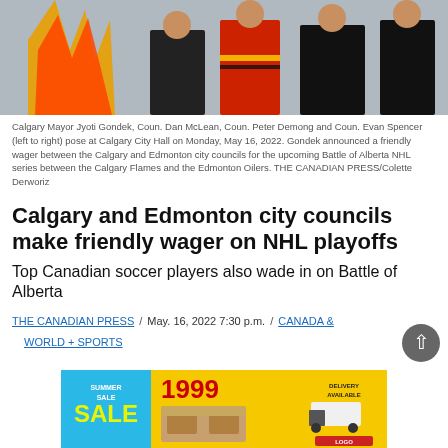[Figure (photo): Calgary Mayor Jyoti Gondek, Coun. Dan McLean, Coun. Peter Demong and Coun. Evan Spencer posing at Calgary City Hall in Calgary Flames jerseys]
Calgary Mayor Jyoti Gondek, Coun. Dan McLean, Coun. Peter Demong and Coun. Evan Spencer (left to right) pose at Calgary City Hall on Monday, May 16, 2022. Gondek announced a friendly wager between the Calgary and Edmonton city councils for the upcoming Battle of Alberta NHL series between the Calgary Flames and the Edmonton Oilers. THE CANADIAN PRESS/Colette Derworiz
Calgary and Edmonton city councils make friendly wager on NHL playoffs
Top Canadian soccer players also wade in on Battle of Alberta
THE CANADIAN PRESS / May. 16, 2022 7:30 p.m. / CANADA & WORLD + SPORTS
[Figure (photo): Summer Sale advertisement banner showing furniture with price 1999 and delivery available offer]